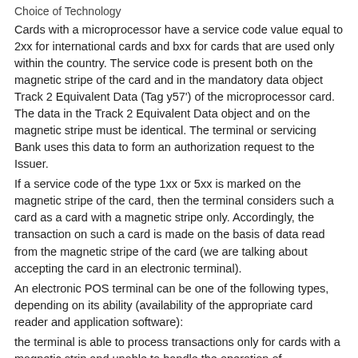Choice of Technology
Cards with a microprocessor have a service code value equal to 2xx for international cards and bxx for cards that are used only within the country. The service code is present both on the magnetic stripe of the card and in the mandatory data object Track 2 Equivalent Data (Tag y57') of the microprocessor card. The data in the Track 2 Equivalent Data object and on the magnetic stripe must be identical. The terminal or servicing Bank uses this data to form an authorization request to the Issuer.
If a service code of the type 1xx or 5xx is marked on the magnetic stripe of the card, then the terminal considers such a card as a card with a magnetic stripe only. Accordingly, the transaction on such a card is made on the basis of data read from the magnetic stripe of the card (we are talking about accepting the card in an electronic terminal).
An electronic POS terminal can be one of the following types, depending on its ability (availability of the appropriate card reader and application software):
the terminal is able to process transactions only for cards with a magnetic strip and unable to handle the operation of microprocessor cards;
a terminal that can process transactions on both magnetic stripe cards and microprocessor cards (hybrid terminal).
There are, of course, terminals that accept only microprocessor cards.